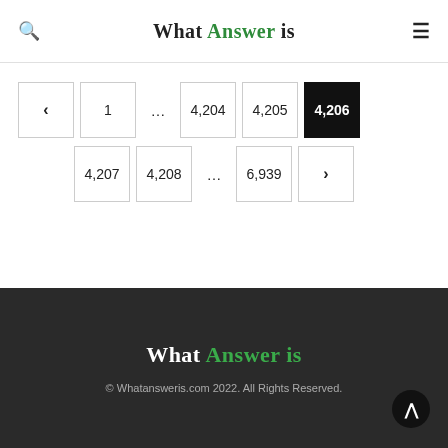What Answer is
< 1 … 4,204 4,205 4,206 4,207 4,208 … 6,939 >
What Answer is © Whatansweris.com 2022. All Rights Reserved.